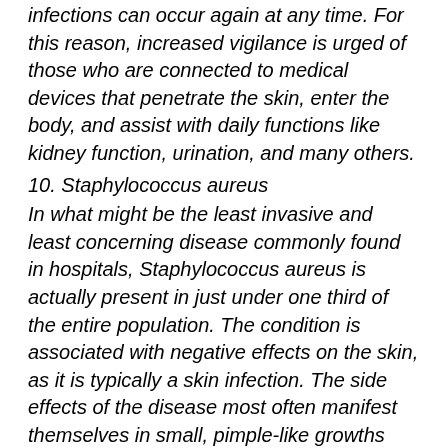infections can occur again at any time. For this reason, increased vigilance is urged of those who are connected to medical devices that penetrate the skin, enter the body, and assist with daily functions like kidney function, urination, and many others.
10. Staphylococcus aureus
In what might be the least invasive and least concerning disease commonly found in hospitals, Staphylococcus aureus is actually present in just under one third of the entire population. The condition is associated with negative effects on the skin, as it is typically a skin infection. The side effects of the disease most often manifest themselves in small, pimple-like growths that ebb and flow over the course of the infection. Treatment with antibiotics is effective in virtually every case, and this less severe form of staphylococcus can be eradicated in just a few days after treatment has commenced.